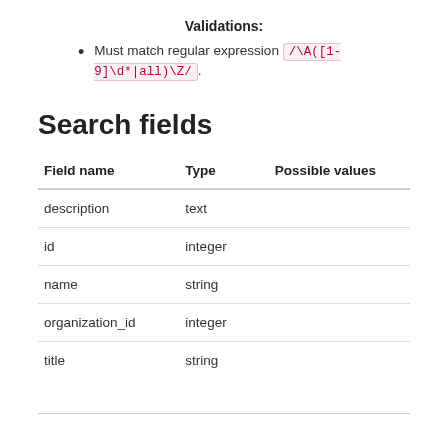Validations:
Must match regular expression /\A([1-9]\d*|all)\Z/.
Search fields
| Field name | Type | Possible values |
| --- | --- | --- |
| description | text |  |
| id | integer |  |
| name | string |  |
| organization_id | integer |  |
| title | string |  |